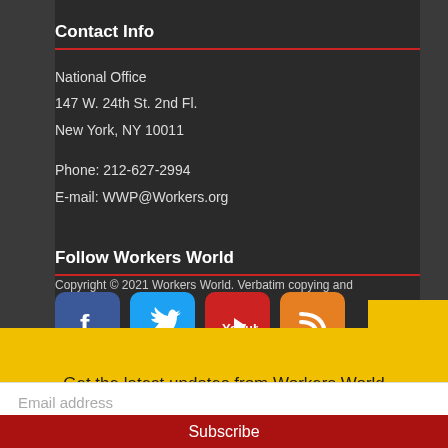Contact Info
National Office
147 W. 24th St. 2nd Fl.
New York, NY 10011
Phone: 212-627-2994
E-mail: WWP@Workers.org
Follow Workers World
[Figure (infographic): Social media icons: Facebook (blue), Twitter (light blue), YouTube (red), RSS (orange)]
Copyright © 2021 Workers World. Verbatim copying and
Get the latest updates from Workers World
Email address
Subscribe